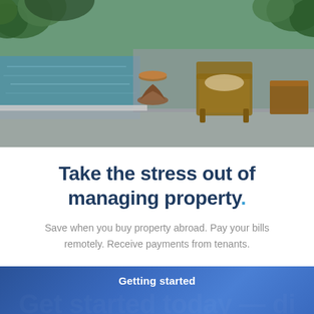[Figure (photo): Outdoor poolside patio with a wooden hourglass-shaped stool, rattan lounge chair, and side table with tropical plants in background near a swimming pool]
Take the stress out of managing property.
Save when you buy property abroad. Pay your bills remotely. Receive payments from tenants.
Getting started